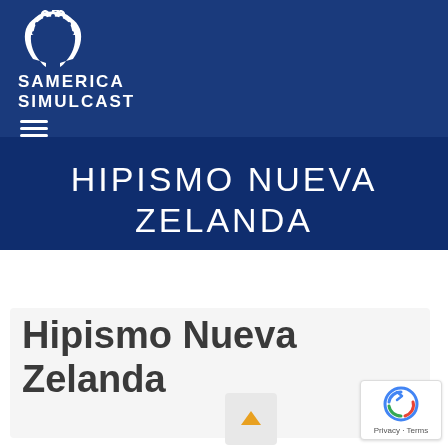[Figure (logo): America Simulcast logo — horseshoe icon above text reading AMERICA SIMULCAST]
[Figure (other): Hamburger/menu icon (three horizontal white lines) on dark blue background]
HIPISMO NUEVA ZELANDA
Inicio
Hipismo Nueva Zelanda
[Figure (other): Scroll-to-top button with yellow/gold upward arrow on light grey square]
[Figure (other): reCAPTCHA badge with Google logo and text Privacy - Terms]